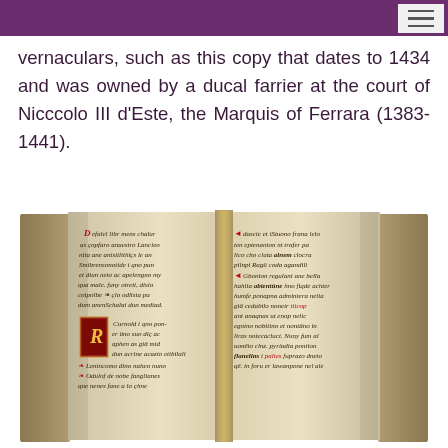vernaculars, such as this copy that dates to 1434 and was owned by a ducal farrier at the court of Nicccolo III d’Este, the Marquis of Ferrara (1383-1441).
[Figure (photo): A photograph of an open medieval manuscript book showing two pages of handwritten Latin or Italian text in brown ink with red rubrics and decorated initials, dating to 1434.]